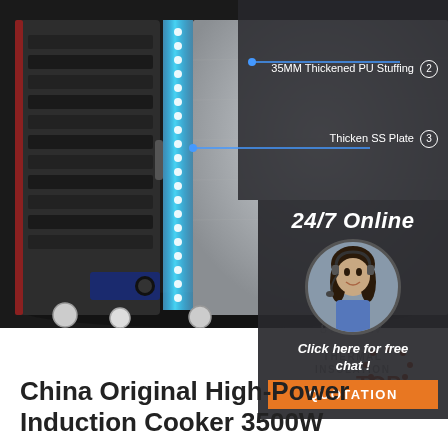[Figure (photo): Commercial induction cooker/steamer with blue LED lighting strip on door edge, multiple steel racks visible inside, stainless steel exterior, control panel with knobs, wheels at bottom. Product detail image with callout labels for '35MM Thickened PU Stuffing', 'Thicken SS Plate', '8 Hours W...', 'THERMAL INSULATION'. A chat widget shows '24/7 Online' with a customer service representative photo, 'Click here for free chat!' text, and an orange QUOTATION button. A TOP logo appears in lower right.]
China Original High-Power Induction Cooker 3500W